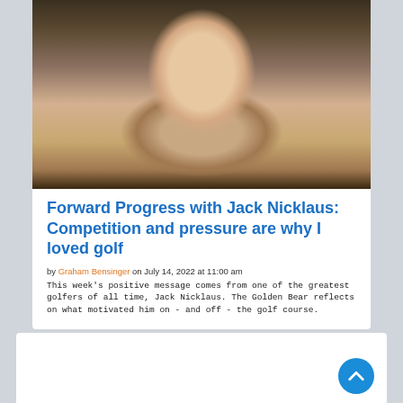[Figure (photo): Close-up portrait photo of Jack Nicklaus, an elderly smiling man wearing a dark blazer and patterned shirt]
Forward Progress with Jack Nicklaus: Competition and pressure are why I loved golf
by Graham Bensinger on July 14, 2022 at 11:00 am
This week's positive message comes from one of the greatest golfers of all time, Jack Nicklaus. The Golden Bear reflects on what motivated him on - and off - the golf course.
[Figure (photo): Partial photo of another person wearing a camouflage cap, partially visible at bottom of page]